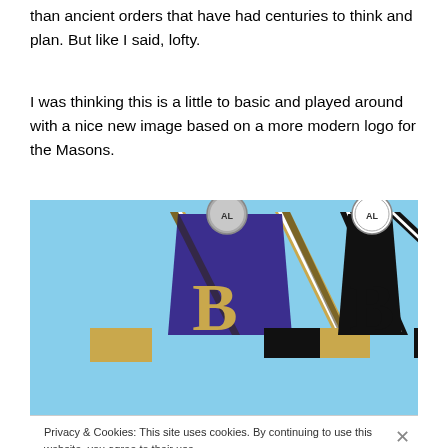than ancient orders that have had centuries to think and plan. But like I said, lofty.
I was thinking this is a little to basic and played around with a nice new image based on a more modern logo for the Masons.
[Figure (illustration): Two Masonic square-and-compass logos side by side on a light blue background. The left logo shows a gold and purple/navy design with the letter B. The right logo shows a black and white version with the letter B.]
Privacy & Cookies: This site uses cookies. By continuing to use this website, you agree to their use.
To find out more, including how to control cookies, see here: Cookie Policy
Close and accept